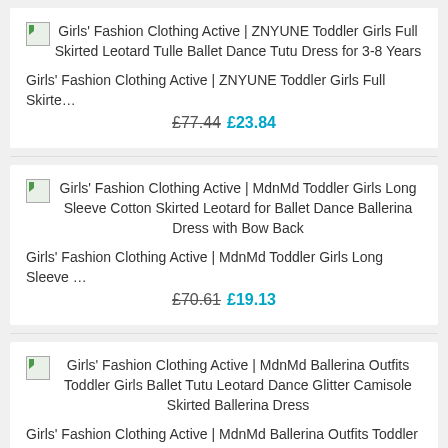[Figure (other): Product image placeholder for ZNYUNE Toddler Girls Full Skirted Leotard Tulle Ballet Dance Tutu Dress for 3-8 Years]
Girls' Fashion Clothing Active | ZNYUNE Toddler Girls Full Skirted Leotard Tulle Ballet Dance Tutu Dress for 3-8 Years
Girls' Fashion Clothing Active | ZNYUNE Toddler Girls Full Skirte…
£77.44  £23.84
[Figure (other): Product image placeholder for MdnMd Toddler Girls Long Sleeve Cotton Skirted Leotard for Ballet Dance Ballerina Dress with Bow Back]
Girls' Fashion Clothing Active | MdnMd Toddler Girls Long Sleeve Cotton Skirted Leotard for Ballet Dance Ballerina Dress with Bow Back
Girls' Fashion Clothing Active | MdnMd Toddler Girls Long Sleeve …
£70.61  £19.13
[Figure (other): Product image placeholder for MdnMd Ballerina Outfits Toddler Girls Ballet Tutu Leotard Dance Glitter Camisole Skirted Ballerina Dress]
Girls' Fashion Clothing Active | MdnMd Ballerina Outfits Toddler Girls Ballet Tutu Leotard Dance Glitter Camisole Skirted Ballerina Dress
Girls' Fashion Clothing Active | MdnMd Ballerina Outfits Toddler …